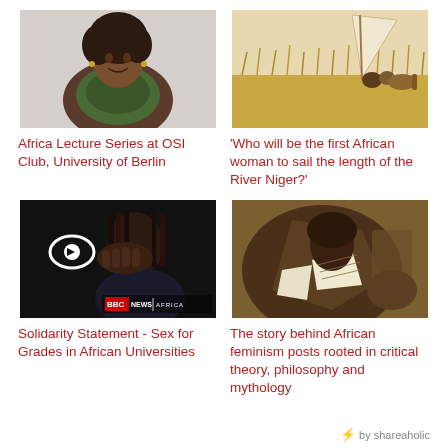[Figure (photo): Smiling woman with curly hair wearing a green patterned halter top, grey background]
Africa Lecture Series at OSI Club, University of Berlin
[Figure (photo): Person in wheat field with a large sail-like cloth, desert landscape]
‘Who will be the first African woman to sail the length of the River Niger?’
[Figure (photo): Dark image of woman with hand covering mouth, BBC News Africa logo overlay]
Solidarity Statement - Sex for Grades in African Universities
[Figure (photo): Sepia-toned artistic illustration of an African woman figure, abstract style]
The story behind African feminism posts rooted in critical theory, philosophy and mythology
⚡ by shareaholic